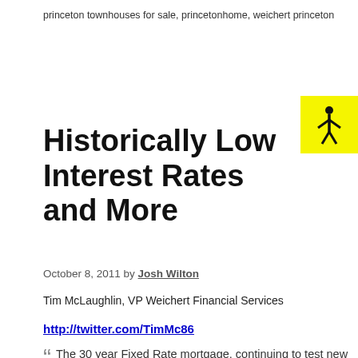princeton townhouses for sale, princetonhome, weichert princeton
Historically Low Interest Rates and More
October 8, 2011 by Josh Wilton
Tim McLaughlin, VP Weichert Financial Services
http://twitter.com/TimMc86
The 30 year Fixed Rate mortgage, continuing to test new lows, dropped below 4% last week for the first time in modern history to 3.99% with .68 points during the week ending